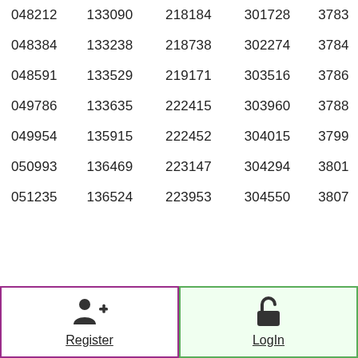| 048212 | 133090 | 218184 | 301728 | 3783… |
| 048384 | 133238 | 218738 | 302274 | 3784… |
| 048591 | 133529 | 219171 | 303516 | 3786… |
| 049786 | 133635 | 222415 | 303960 | 3788… |
| 049954 | 135915 | 222452 | 304015 | 3799… |
| 050993 | 136469 | 223147 | 304294 | 3801… |
| 051235 | 136524 | 223953 | 304550 | 3807… |
[Figure (other): Register button with person-plus icon, outlined in purple]
[Figure (other): LogIn button with open padlock icon, outlined in green]